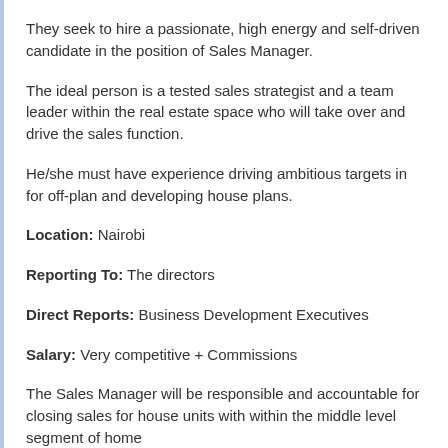They seek to hire a passionate, high energy and self-driven candidate in the position of Sales Manager.
The ideal person is a tested sales strategist and a team leader within the real estate space who will take over and drive the sales function.
He/she must have experience driving ambitious targets in for off-plan and developing house plans.
Location: Nairobi
Reporting To: The directors
Direct Reports: Business Development Executives
Salary: Very competitive + Commissions
The Sales Manager will be responsible and accountable for closing sales for house units with within the middle level segment of home